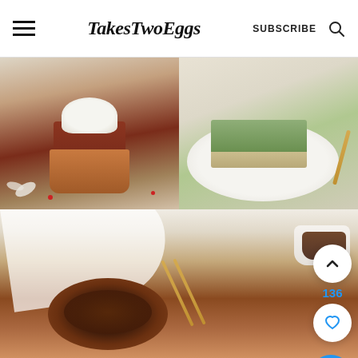TakesTwoEggs | SUBSCRIBE
[Figure (photo): Red velvet cupcake with white cream cheese frosting on a white background with scattered red berries and white chocolate pieces]
[Figure (photo): Slice of vanilla matcha Basque cheesecake showing two distinct green and cream layers on a white plate with gold fork]
EASY RED VELVET CUPCAKES RECIPE
VANILLA MATCHA BASQUE CHEESECAKE (DOUBLE LAYERED)
[Figure (photo): Chocolate glazed donut on a white plate with gold fork and small bowl of chocolate sauce in background]